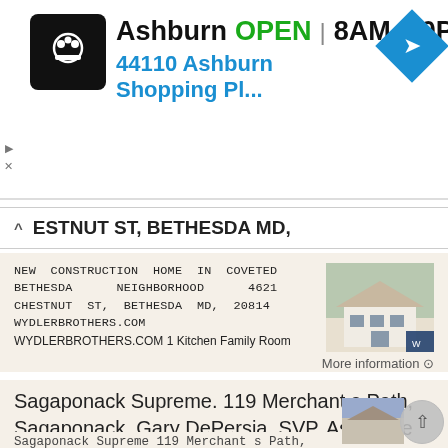[Figure (screenshot): Ad banner: Ashburn store logo (chef hat icon), OPEN label, 8AM-10PM hours, address 44110 Ashburn Shopping Pl..., navigation arrow icon]
Ashburn  OPEN  8AM–10PM
44110 Ashburn Shopping Pl...
ESTNUT ST, BETHESDA MD,
NEW CONSTRUCTION HOME IN COVETED BETHESDA NEIGHBORHOOD 4621 CHESTNUT ST, BETHESDA MD, 20814 WYDLERBROTHERS.COM WYDLERBROTHERS.COM 1 Kitchen Family Room Office This exceptional new construction home designed
More information ⊙
Sagaponack Supreme. 119 Merchant s Path, Sagaponack. Gary DePersia, SVP, Associate Broker myhamptonhomes.
Sagaponack Supreme 119 Merchant s Path, Sagaponack Gary DePersia, SVP, Associate